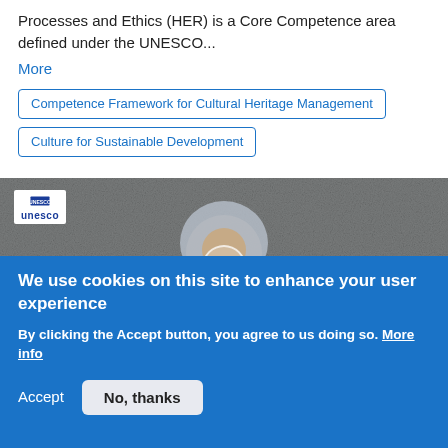Processes and Ethics (HER) is a Core Competence area defined under the UNESCO...
More
Competence Framework for Cultural Heritage Management
Culture for Sustainable Development
[Figure (screenshot): Video thumbnail showing a woman in a hijab and striped top gesturing with hands open, against a grey mottled background. UNESCO logo badge visible in top left corner. Play button overlay in center.]
We use cookies on this site to enhance your user experience
By clicking the Accept button, you agree to us doing so. More info
Accept
No, thanks